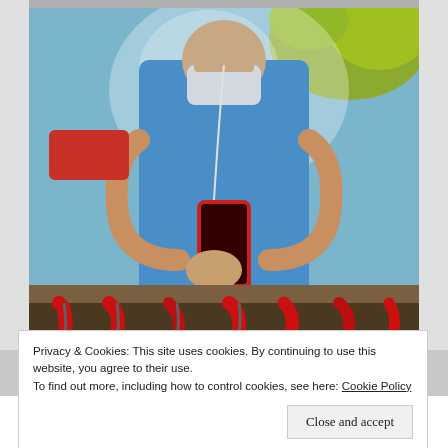[Figure (photo): A person wearing a blue shirt and face mask taking a mirror selfie, holding a red phone. The lower half of the image shows red-handled tools or instruments arranged in a tray.]
Privacy & Cookies: This site uses cookies. By continuing to use this website, you agree to their use.
To find out more, including how to control cookies, see here: Cookie Policy
Close and accept
Build a writing